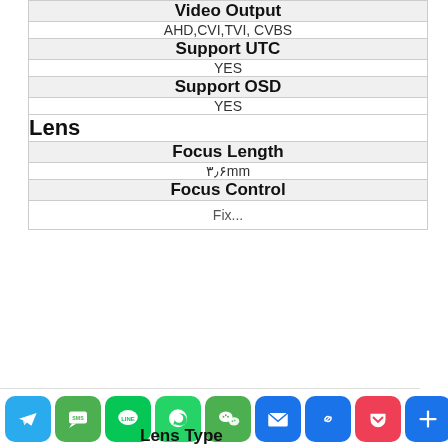| Video Output |
| AHD,CVI,TVI, CVBS |
| Support UTC |
| YES |
| Support OSD |
| YES |
| Lens |
| Focus Length |
| ۳٫۶mm |
| Focus Control |